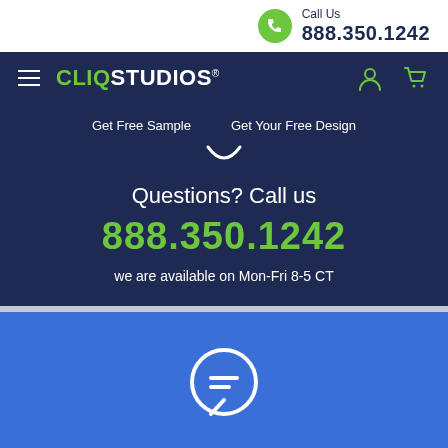Call Us 888.350.1242
[Figure (logo): CLIQ STUDIOS logo with hamburger menu, user icon, and cart icon on dark navy navigation bar]
Get Free Sample   Get Your Free Design
Questions? Call us
888.350.1242
we are available on Mon-Fri 8-5 CT
[Figure (illustration): Chat bubble icon with lines inside, white, on blue background]
Let's Connect